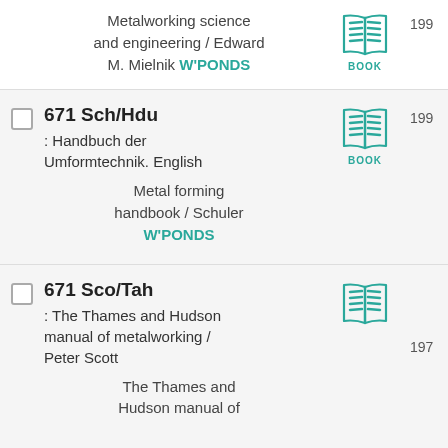Metalworking science and engineering / Edward M. Mielnik W'PONDS BOOK 199
671 Sch/Hdu : Handbuch der Umformtechnik. English Metal forming handbook / Schuler W'PONDS BOOK 199
671 Sco/Tah : The Thames and Hudson manual of metalworking / Peter Scott The Thames and Hudson manual of BOOK 197